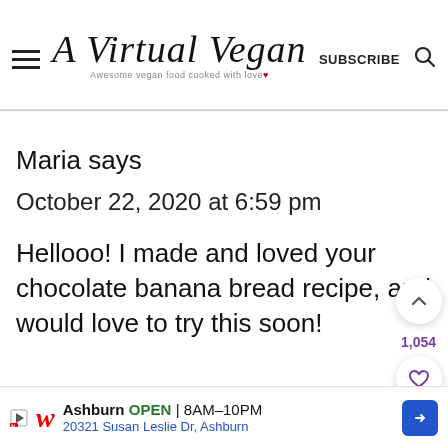A Virtual Vegan — Awesome vegan food cooked with love
Maria says
October 22, 2020 at 6:59 pm
Hellooo! I made and loved your chocolate banana bread recipe, and would love to try this soon!
[Figure (screenshot): Walgreens advertisement banner: Ashburn OPEN 8AM-10PM, 20321 Susan Leslie Dr, Ashburn]